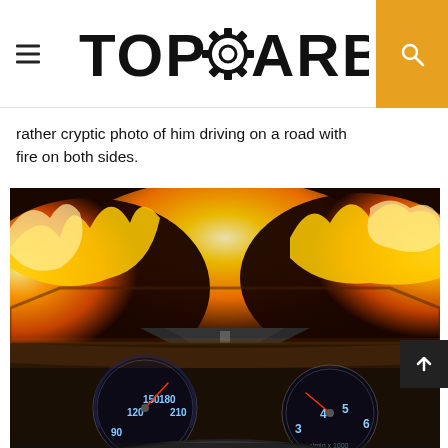TOPGEARBOX
rather cryptic photo of him driving on a road with fire on both sides.
[Figure (photo): Dashboard view from inside a car driving on a road surrounded by fire on both sides. The car's speedometer is visible showing numbers 90, 120, 150, 180, 210 and tachometer showing 3, 4, 5, 6. Large flames illuminate both sides of the road ahead.]